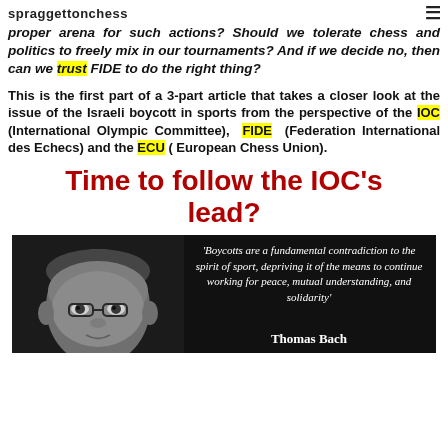spraggettonchess
proper arena for such actions? Should we tolerate chess and politics to freely mix in our tournaments? And if we decide no, then can we trust FIDE to do the right thing?
This is the first part of a 3-part article that takes a closer look at the issue of the Israeli boycott in sports from the perspective of the IOC (International Olympic Committee), FIDE (Federation International des Echecs) and the ECU ( European Chess Union).
Time to follow the IOC’s lead?
[Figure (photo): Black and white photo of Thomas Bach with quote: 'Boycotts are a fundamental contradiction to the spirit of sport, depriving it of the means to continue working for peace, mutual understanding, and solidarity' — Thomas Bach]